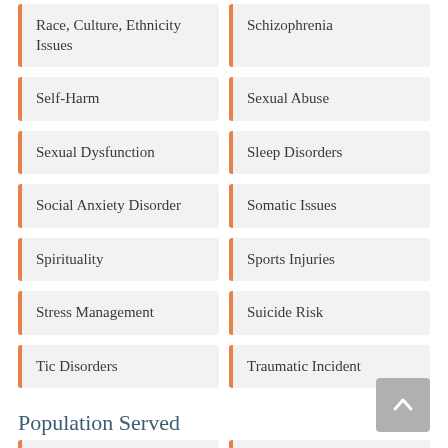Race, Culture, Ethnicity Issues
Schizophrenia
Self-Harm
Sexual Abuse
Sexual Dysfunction
Sleep Disorders
Social Anxiety Disorder
Somatic Issues
Spirituality
Sports Injuries
Stress Management
Suicide Risk
Tic Disorders
Traumatic Incident
Population Served